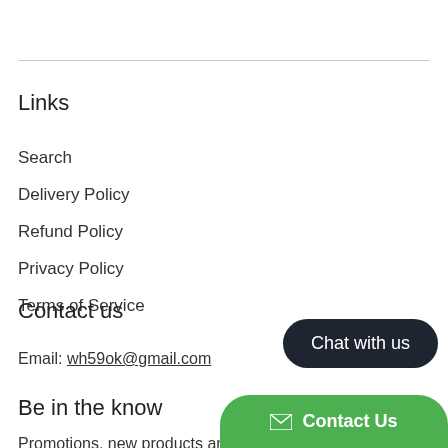Links
Search
Delivery Policy
Refund Policy
Privacy Policy
Terms of Service
Contact us
Email: wh59ok@gmail.com
Be in the know
Promotions, new products and sales. Dire
[Figure (other): Chat with us button (dark rounded rectangle) and Contact Us button (green with envelope icon)]